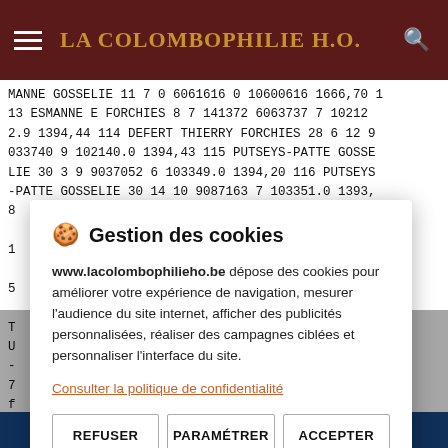LA COLOMBOPHILIE H.O.
MANNE GOSSELIE 11 7 0 6061616 0 10600616 1666,70 1 13 ESMANNE E FORCHIES 8 7 141372 6063737 7 10212 2.9 1394,44 114 DEFERT THIERRY FORCHIES 28 6 12 9 033740 9 102140.0 1394,43 115 PUTSEYS-PATTE GOSSELIE 30 3 9 9037052 6 103349.0 1394,20 116 PUTSEYS-PATTE GOSSELIE 30 14 10 9087163 7 103351.0 1393,8
🍪 Gestion des cookies
www.lacolombophilieho.be dépose des cookies pour améliorer votre expérience de navigation, mesurer l'audience du site internet, afficher des publicités personnalisées, réaliser des campagnes ciblées et personnaliser l'interface du site.
Consulter la politique de confidentialité
REFUSER
PARAMÉTRER
ACCEPTER